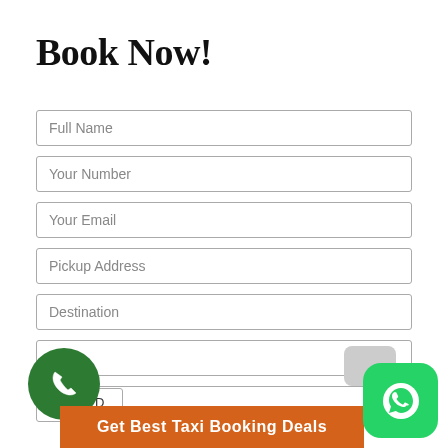Book Now!
Full Name
Your Number
Your Email
Pickup Address
Destination
Date
Time
[Figure (illustration): Green circular phone call icon button at bottom left]
Get Best Taxi Booking Deals
[Figure (logo): WhatsApp green rounded square icon at bottom right]